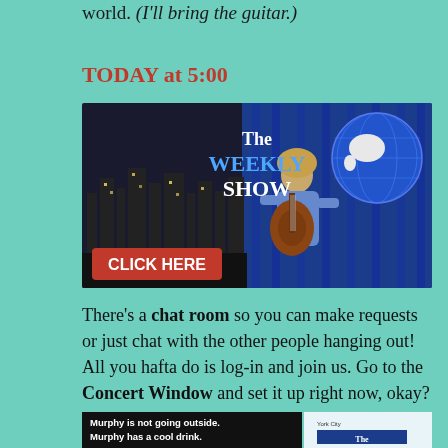world. (I'll bring the guitar.)
TODAY at 5:00
[Figure (illustration): The Weekly Show banner with a man playing guitar against a city skyline background and a globe. Red button at bottom left says CLICK HERE.]
There's a chat room so you can make requests or just chat with the other people hanging out! All you hafta do is log-in and join us. Go to the Concert Window and set it up right now, okay?
[Figure (screenshot): Bottom partial banner showing text: Murphy is not going outside. Murphy has a cool drink. with The Weekly Show logo visible on the right side.]